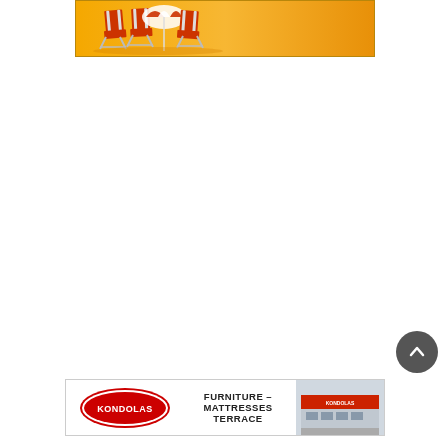[Figure (illustration): Orange background advertisement banner with beach chairs and a beach ball/umbrella illustration]
[Figure (illustration): Kondolas Furniture Mattresses Terrace advertisement banner with logo and store photo]